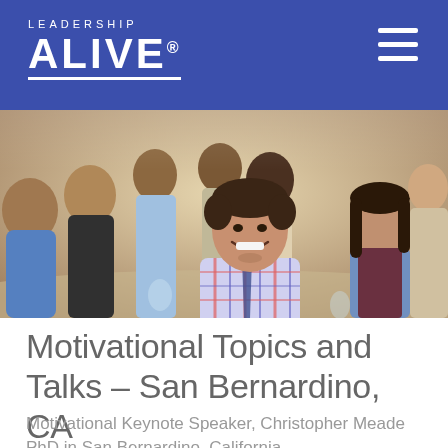LEADERSHIP ALIVE®
[Figure (photo): Group of smiling young people seated at tables at an event, appears to be a leadership conference or banquet setting. A young man in a plaid shirt is prominently featured in the center smiling.]
Motivational Topics and Talks – San Bernardino, CA
Motivational Keynote Speaker, Christopher Meade PhD in San Bernardino, California